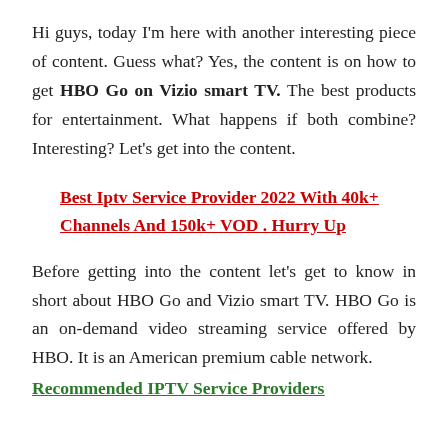Hi guys, today I'm here with another interesting piece of content. Guess what? Yes, the content is on how to get HBO Go on Vizio smart TV. The best products for entertainment. What happens if both combine? Interesting? Let's get into the content.
Best Iptv Service Provider 2022 With 40k+ Channels And 150k+ VOD . Hurry Up
Before getting into the content let's get to know in short about HBO Go and Vizio smart TV. HBO Go is an on-demand video streaming service offered by HBO. It is an American premium cable network.
Recommended IPTV Service Providers